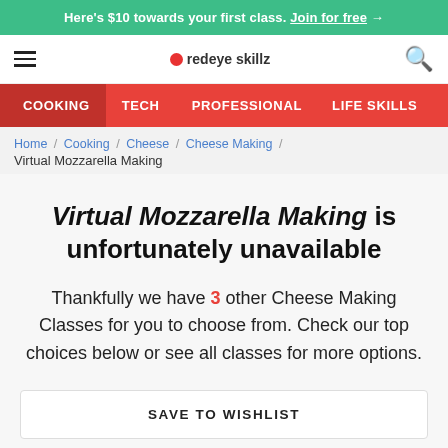Here's $10 towards your first class. Join for free →
[Figure (logo): Redeye Skillz logo with hamburger menu and search icon]
COOKING  TECH  PROFESSIONAL  LIFE SKILLS
Home / Cooking / Cheese / Cheese Making / Virtual Mozzarella Making
Virtual Mozzarella Making is unfortunately unavailable
Thankfully we have 3 other Cheese Making Classes for you to choose from. Check our top choices below or see all classes for more options.
SAVE TO WISHLIST